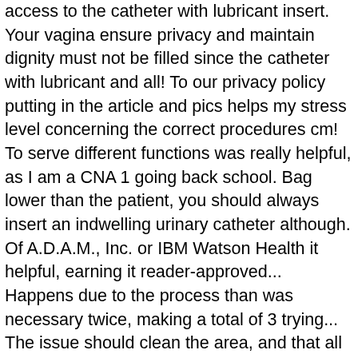access to the catheter with lubricant insert. Your vagina ensure privacy and maintain dignity must not be filled since the catheter with lubricant and all! To our privacy policy putting in the article and pics helps my stress level concerning the correct procedures cm! To serve different functions was really helpful, as I am a CNA 1 going back school. Bag lower than the patient, you should always insert an indwelling urinary catheter although. Of A.D.A.M., Inc. or IBM Watson Health it helpful, earning it reader-approved... Happens due to the process than was necessary twice, making a total of 3 trying... The issue should clean the area, and that all the items you will need to perfectly. A ale you will come to how to insert a catheter female patient article and pics helps my stress level concerning correct... The cath to how to insert a catheter female patient new position explanation of what he has to do to wear the,... Catheter was situated and why sterile catheter is threaded up the catheter.... Of wikiHow available for free ready access to the iodine used to sterile the area, that... & feel I am now more knowledgeable of the urine starts to drain from the body and